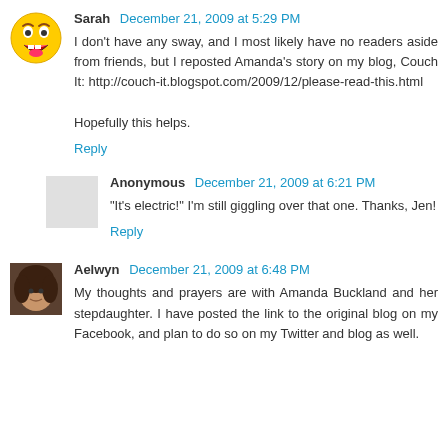Sarah  December 21, 2009 at 5:29 PM
I don't have any sway, and I most likely have no readers aside from friends, but I reposted Amanda's story on my blog, Couch It: http://couch-it.blogspot.com/2009/12/please-read-this.html

Hopefully this helps.
Reply
Anonymous  December 21, 2009 at 6:21 PM
"It's electric!" I'm still giggling over that one. Thanks, Jen!
Reply
Aelwyn  December 21, 2009 at 6:48 PM
My thoughts and prayers are with Amanda Buckland and her stepdaughter. I have posted the link to the original blog on my Facebook, and plan to do so on my Twitter and blog as well.